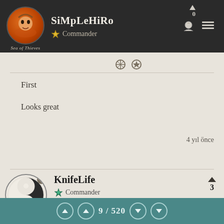SiMpLeHiRo — Commander — Sea of Thieves
First
Looks great
4 yıl önce
KnifeLife
Commander
3
9 / 520